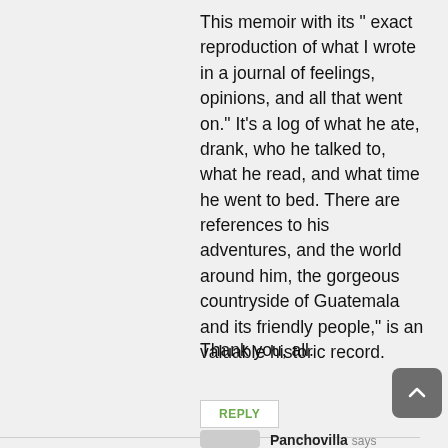This memoir with its " exact reproduction of what I wrote in a journal of feelings, opinions, and all that went on." It's a log of what he ate, drank, who he talked to, what he read, and what time he went to bed. There are references to his adventures, and the world around him, the gorgeous countryside of Guatemala and its friendly people," is an valuable historic record.
Thank you, all.